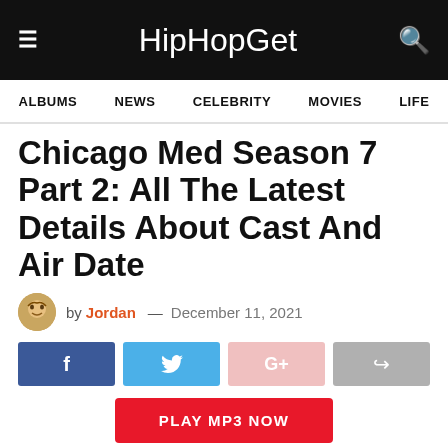HipHopGet
ALBUMS  NEWS  CELEBRITY  MOVIES  LIFE
Chicago Med Season 7 Part 2: All The Latest Details About Cast And Air Date
by Jordan — December 11, 2021
[Figure (other): Social share buttons: Facebook, Twitter, Google+, Share]
PLAY MP3 NOW
Chicago Med Season 7 Part 2: We know that the people are very much fond of watching the series Chicago Med